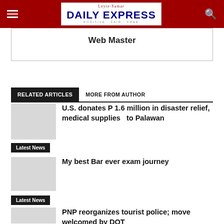Leyte-Samar Daily Express
Web Master
RELATED ARTICLES	MORE FROM AUTHOR
U.S. donates P 1.6 million in disaster relief, medical supplies   to Palawan
Latest News
My best Bar ever exam journey
Latest News
PNP reorganizes tourist police; move welcomed by DOT